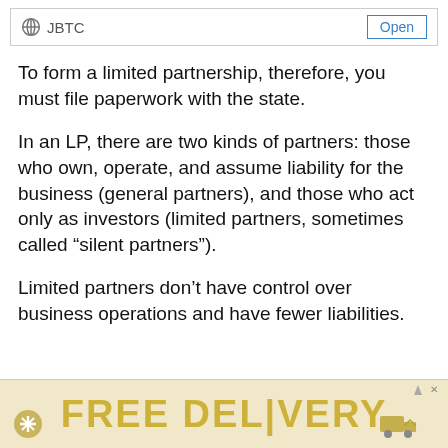JBTC  Open
To form a limited partnership, therefore, you must file paperwork with the state.
In an LP, there are two kinds of partners: those who own, operate, and assume liability for the business (general partners), and those who act only as investors (limited partners, sometimes called “silent partners”).
Limited partners don’t have control over business operations and have fewer liabilities.
[Figure (infographic): Advertisement banner with tan/golden background showing partial text 'FREE DELIVERY' with delivery-related icons]